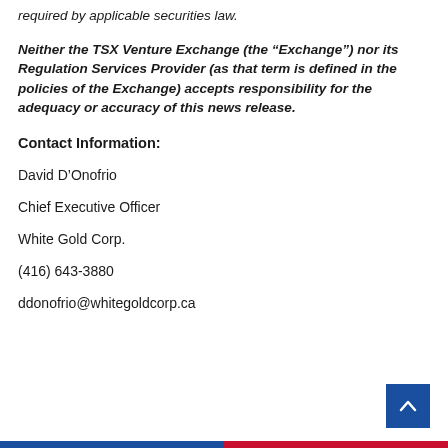required by applicable securities law.
Neither the TSX Venture Exchange (the “Exchange”) nor its Regulation Services Provider (as that term is defined in the policies of the Exchange) accepts responsibility for the adequacy or accuracy of this news release.
Contact Information:
David D’Onofrio
Chief Executive Officer
White Gold Corp.
(416) 643-3880
ddonofrio@whitegoldcorp.ca